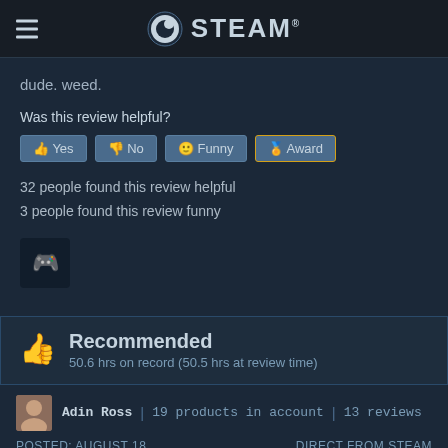STEAM
dude. weed.
Was this review helpful?
Yes | No | Funny | Award
32 people found this review helpful
3 people found this review funny
Recommended
50.6 hrs on record (50.5 hrs at review time)
Adin Ross | 19 products in account | 13 reviews
POSTED: AUGUST 18 | DIRECT FROM STEAM
Diaper Dan makin me act up